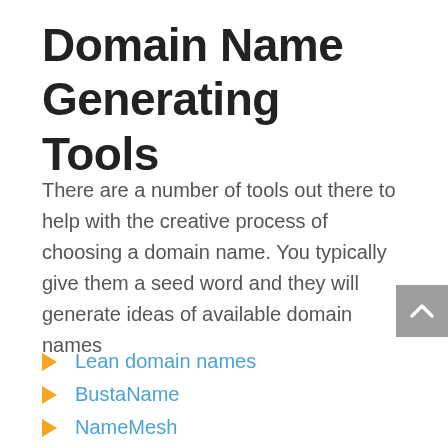Domain Name Generating Tools
There are a number of tools out there to help with the creative process of choosing a domain name. You typically give them a seed word and they will generate ideas of available domain names
Lean domain names
BustaName
NameMesh
NameSmith
NameBoy